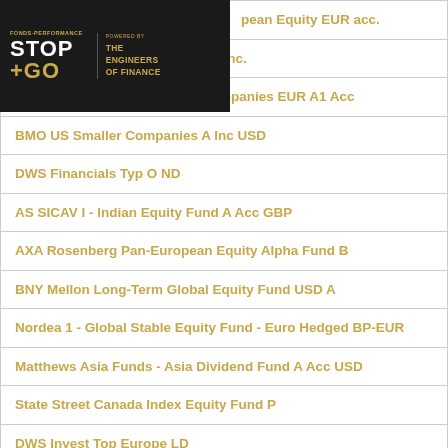[Figure (logo): STOP+GO Fonds-Performance logo with The Engineers of Finance branding on dark background]
...pean Equity EUR acc.
GAM Star European Equity EUR Inc.
Schroder ISF Global Smaller Companies EUR A1 Acc
BMO US Smaller Companies A Inc USD
DWS Financials Typ O ND
AS SICAV I - Indian Equity Fund A Acc GBP
AXA Rosenberg Pan-European Equity Alpha Fund B
BNY Mellon Long-Term Global Equity Fund USD A
Nordea 1 - Global Stable Equity Fund - Euro Hedged BP-EUR
Matthews Asia Funds - Asia Dividend Fund A Acc USD
State Street Canada Index Equity Fund P
DWS Invest Top Europe LD
Pictet - Global Megatrend Selection-P EUR